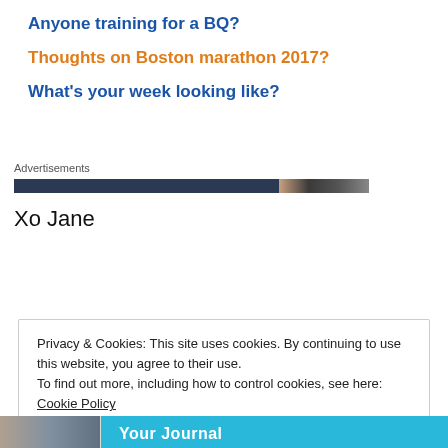Anyone training for a BQ?
Thoughts on Boston marathon 2017?
What's your week looking like?
Advertisements
Xo Jane
Privacy & Cookies: This site uses cookies. By continuing to use this website, you agree to their use.
To find out more, including how to control cookies, see here: Cookie Policy
Close and accept
Your Journal